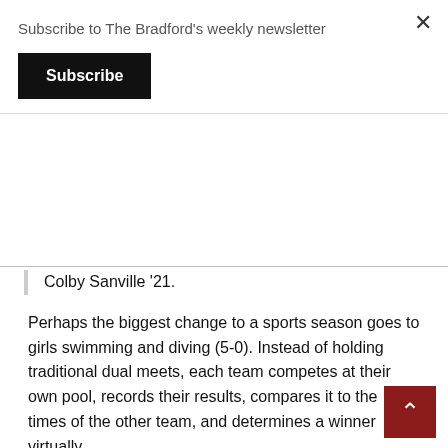Subscribe to The Bradford's weekly newsletter
Subscribe
Colby Sanville '21.
Perhaps the biggest change to a sports season goes to girls swimming and diving (5-0). Instead of holding traditional dual meets, each team competes at their own pool, records their results, compares it to the times of the other team, and determines a winner virtually.
“Virtual meets definitely add complexity to the season, since it’s hard to create the energy of a normal meet when you can’t see the girl you